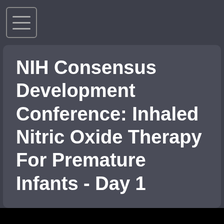NIH Consensus Development Conference: Inhaled Nitric Oxide Therapy For Premature Infants - Day 1
[Figure (screenshot): Black video player area with text 'This video file cannot' partially visible at bottom]
This video file cannot